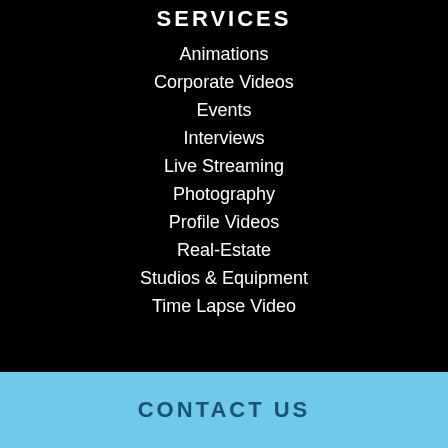SERVICES
Animations
Corporate Videos
Events
Interviews
Live Streaming
Photography
Profile Videos
Real-Estate
Studios & Equipment
Time Lapse Video
CONTACT US